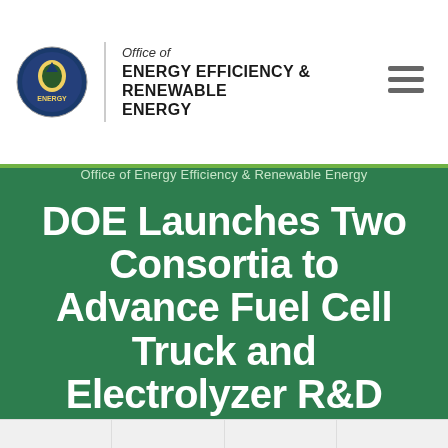Office of ENERGY EFFICIENCY & RENEWABLE ENERGY
Office of Energy Efficiency & Renewable Energy
DOE Launches Two Consortia to Advance Fuel Cell Truck and Electrolyzer R&D
OCTOBER 8, 2020